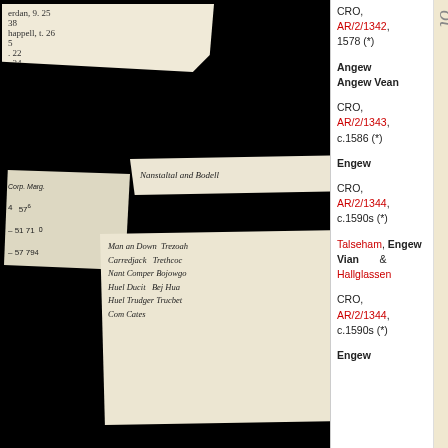[Figure (photo): Collage of historical manuscript fragments and document snippets on a black background, left portion of the page]
CRO, AR/2/1342, 1578 (*)
Angew Angew Vean
CRO, AR/2/1343, c.1586 (*)
Engew
CRO, AR/2/1344, c.1590s (*)
Talseham, Engew Vian & Hallglassen
CRO, AR/2/1344, c.1590s (*)
Engew